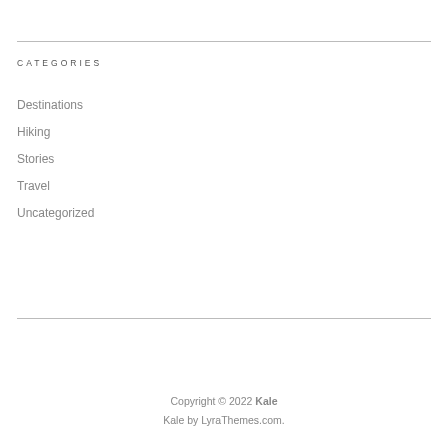CATEGORIES
Destinations
Hiking
Stories
Travel
Uncategorized
Copyright © 2022 Kale
Kale by LyraThemes.com.